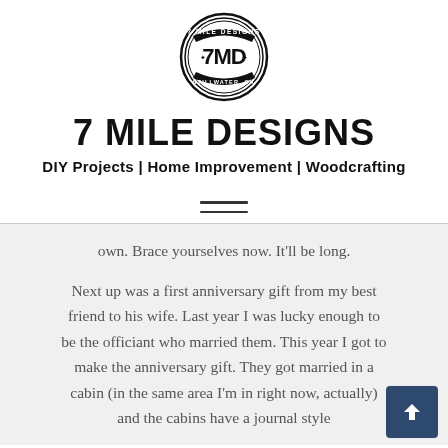[Figure (logo): 7 Mile Designs circular badge logo with '7MD' in the center and 'Stillwater, OK' text around the rim]
7 MILE DESIGNS
DIY Projects | Home Improvement | Woodcrafting
[Figure (other): Hamburger menu icon with two horizontal lines]
own.  Brace yourselves now.  It'll be long.

Next up was a first anniversary gift from my best friend to his wife.  Last year I was lucky enough to be the officiant who married them.  This year I got to make the anniversary gift.  They got married in a cabin (in the same area I'm in right now, actually) and the cabins have a journal style